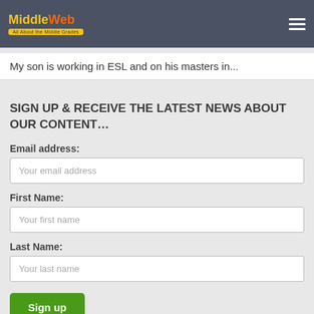MiddleWeb
My son is working in ESL and on his masters in...
SIGN UP & RECEIVE THE LATEST NEWS ABOUT OUR CONTENT…
Email address:
Your email address
First Name:
Your first name
Last Name:
Your last name
Sign up